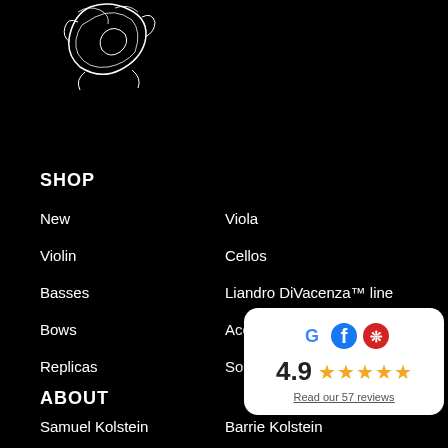[Figure (logo): White line-art logo on black background — appears to be a violin/music shop logo with cursive lettering]
SHOP
New
Viola
Violin
Cellos
Basses
Liandro DiVacenza™ line
Bows
Accessories
Replicas
Sold Instruments
[Figure (infographic): Review widget showing Google, Facebook, and Yelp icons, rating 4.9 with 5 stars, and 'Read our 57 reviews' link]
ABOUT
Samuel Kolstein
Barrie Kolstein